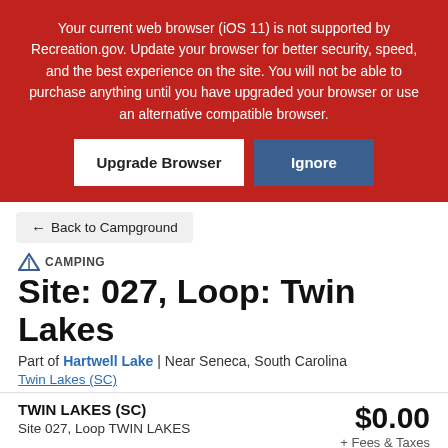Your current web browser (iOS 11) is not supported by Recreation.gov. Update your browser for better security, speed, and the best experience on the site. You will not be able to purchase anything until you have upgraded your browser or use an alternative compatible browser.
Upgrade Browser
Ignore
← Back to Campground
CAMPING
Site: 027, Loop: Twin Lakes
Part of Hartwell Lake | Near Seneca, South Carolina
Twin Lakes (SC)
TWIN LAKES (SC)
$0.00
Site 027, Loop TWIN LAKES
+ Fees & Taxes
Enter Dates